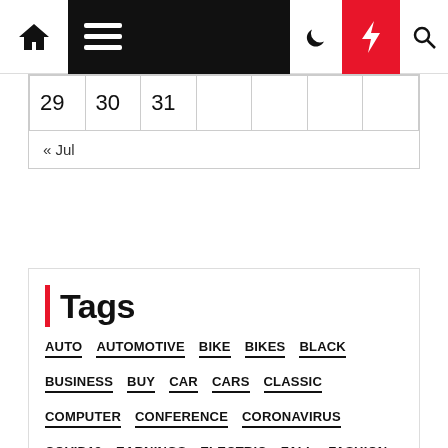Navigation bar with home icon, menu, moon, lightning, search
| 29 | 30 | 31 |  |  |  |  |
« Jul
Tags
AUTO
AUTOMOTIVE
BIKE
BIKES
BLACK
BUSINESS
BUY
CAR
CARS
CLASSIC
COMPUTER
CONFERENCE
CORONAVIRUS
COVID19
EARNINGS
ELECTRIC
FALL
FASHION
FINANCE
FITNESS
HEALTH
HERES
HOUSE
IMPROVEMENT
INDUSTRY
LEISURE
MARKET
MODIFIED
MONEY
ONLINE
PANDEMIC
POLICE